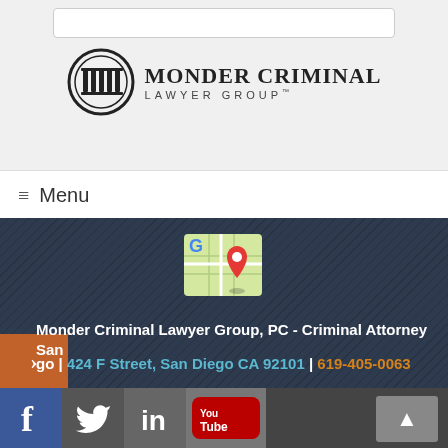[Figure (logo): Monder Criminal Lawyer Group logo with circular emblem and text]
≡ Menu
[Figure (illustration): Google Maps icon with red location pin]
Monder Criminal Lawyer Group, PC - Criminal Attorney San Diego | 424 F Street, San Diego CA 92101 | 619-405-0063
This website is designed for general information only. The information presented at this site should not be construed to be formal legal advice or the information of an attorney client relationship. Monder Law Group makes no warranties or guarantees of case outcomes. © Monder Law Group
[Figure (other): Social media icons: Facebook, Twitter, LinkedIn, YouTube and scroll-to-top button]